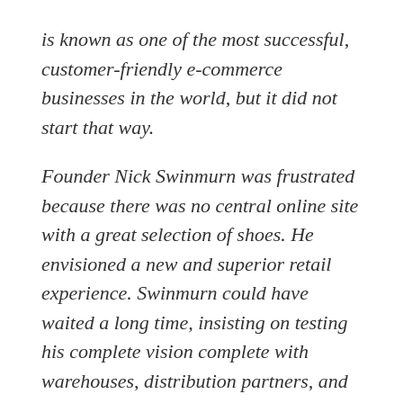is known as one of the most successful, customer-friendly e-commerce businesses in the world, but it did not start that way.
Founder Nick Swinmurn was frustrated because there was no central online site with a great selection of shoes. He envisioned a new and superior retail experience. Swinmurn could have waited a long time, insisting on testing his complete vision complete with warehouses, distribution partners, and the promise of significant sales.
Instead, he started by running an experiment. He began the...